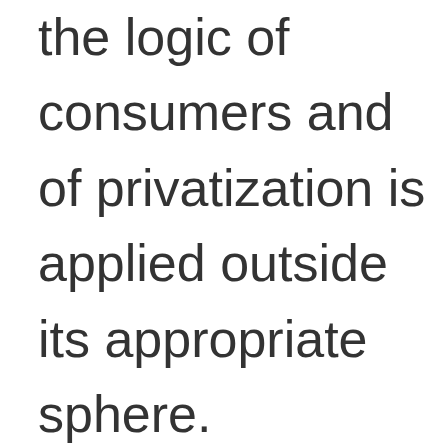the logic of consumers and of privatization is applied outside its appropriate sphere.

I am not sure why